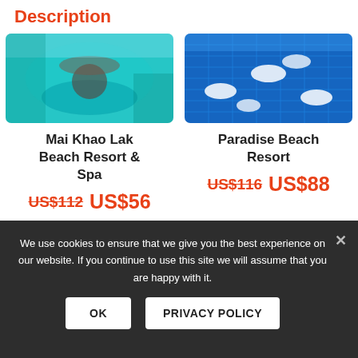Description
[Figure (photo): Aerial view of Mai Khao Lak Beach Resort & Spa pool area with teal water and thatched roof structures]
[Figure (photo): Aerial view of Paradise Beach Resort pool area with blue water and white floating decorations]
Mai Khao Lak Beach Resort & Spa
US$112  US$56
Paradise Beach Resort
US$116  US$88
[Figure (photo): Third resort card with -40% badge and heart icon, showing tropical greenery and pool area]
We use cookies to ensure that we give you the best experience on our website. If you continue to use this site we will assume that you are happy with it.
OK  PRIVACY POLICY